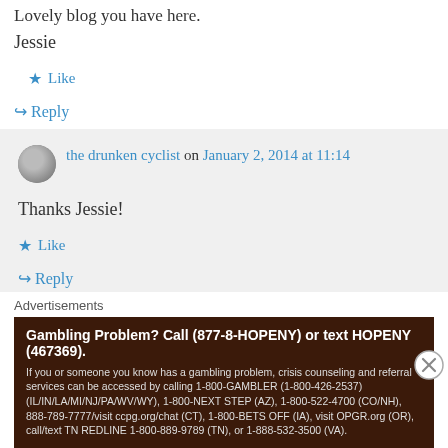Lovely blog you have here.
Jessie
★ Like
↪ Reply
the drunken cyclist on January 2, 2014 at 11:14
Thanks Jessie!
★ Like
↪ Reply
Advertisements
Gambling Problem? Call (877-8-HOPENY) or text HOPENY (467369). If you or someone you know has a gambling problem, crisis counseling and referral services can be accessed by calling 1-800-GAMBLER (1-800-426-2537) (IL/IN/LA/MI/NJ/PA/WV/WY), 1-800-NEXT STEP (AZ), 1-800-522-4700 (CO/NH), 888-789-7777/visit ccpg.org/chat (CT), 1-800-BETS OFF (IA), visit OPGR.org (OR), call/text TN REDLINE 1-800-889-9789 (TN), or 1-888-532-3500 (VA).